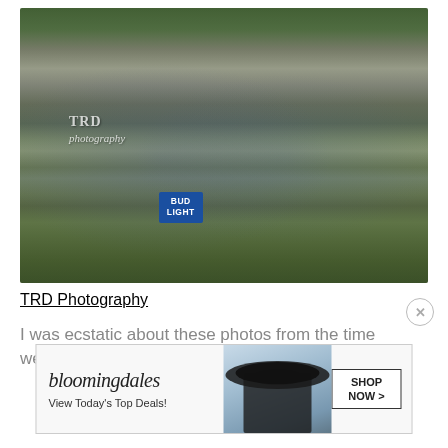[Figure (photo): Two men in overalls and caps sitting by a rocky creek, drinking from bottles, with a six-pack of Bud Light in front of them. Watermark reads 'TRD photography'.]
TRD Photography
I was ecstatic about these photos from the time we
[Figure (other): Bloomingdale's advertisement banner: 'bloomingdales / View Today's Top Deals!' with a woman in a sun hat and a 'SHOP NOW >' button.]